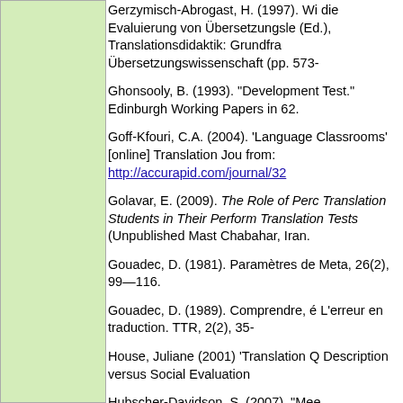[Figure (other): Green shaded left column panel]
Gerzymisch-Abrogast, H. (1997). Wi die Evaluierung von Übersetzungsle (Ed.), Translationsdidaktik: Grundfra Übersetzungswissenschaft (pp. 573-
Ghonsooly, B. (1993). "Development Test." Edinburgh Working Papers in 62.
Goff-Kfouri, C.A. (2004). 'Language Classrooms' [online] Translation Jou from: http://accurapid.com/journal/32
Golavar, E. (2009). The Role of Perc Translation Students in Their Perform Translation Tests (Unpublished Mast Chabahar, Iran.
Gouadec, D. (1981). Paramètres de Meta, 26(2), 99—116.
Gouadec, D. (1989). Comprendre, é L'erreur en traduction. TTR, 2(2), 35-
House, Juliane (2001) 'Translation Q Description versus Social Evaluation
Hubscher-Davidson, S. (2007). "Mee Undergraduate Translation Program Volume (11), No 1. Available from: http://acurapid.com/journal/39edu.h